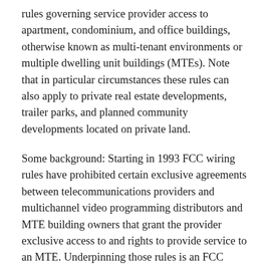rules governing service provider access to apartment, condominium, and office buildings, otherwise known as multi-tenant environments or multiple dwelling unit buildings (MTEs). Note that in particular circumstances these rules can also apply to private real estate developments, trailer parks, and planned community developments located on private land.
Some background: Starting in 1993 FCC wiring rules have prohibited certain exclusive agreements between telecommunications providers and multichannel video programming distributors and MTE building owners that grant the provider exclusive access to and rights to provide service to an MTE. Underpinning those rules is an FCC policy that exclusive access and service contracts harm competition and consumers by limiting service